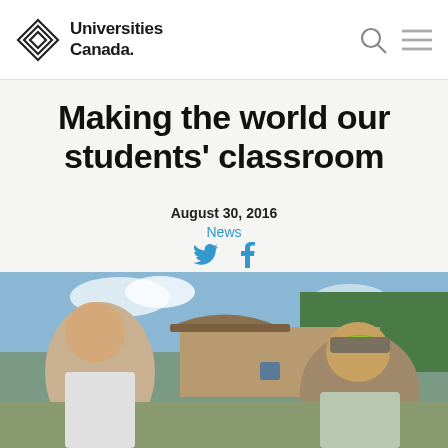Universities Canada.
Making the world our students’ classroom
August 30, 2016
News
[Figure (photo): Two students working outdoors near a building with a tiled roof, one wearing a baseball cap with yellow-green brim]